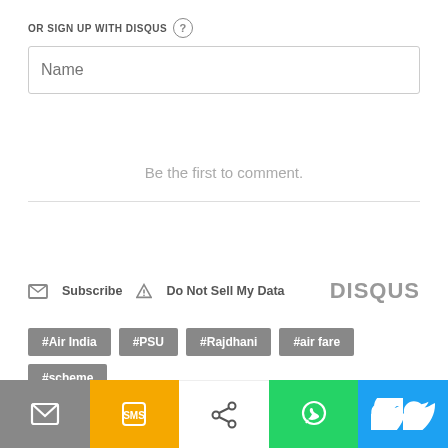OR SIGN UP WITH DISQUS (?)
Name
Be the first to comment.
Subscribe  Do Not Sell My Data  DISQUS
#Air India
#PSU
#Rajdhani
#air fare
#scheme
Other News